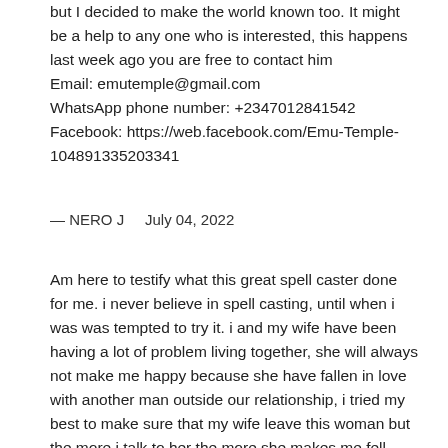but I decided to make the world known too. It might be a help to any one who is interested, this happens last week ago you are free to contact him
Email: emutemple@gmail.com
WhatsApp phone number: +2347012841542
Facebook: https://web.facebook.com/Emu-Temple-104891335203341
— NERO J    July 04, 2022
Am here to testify what this great spell caster done for me. i never believe in spell casting, until when i was was tempted to try it. i and my wife have been having a lot of problem living together, she will always not make me happy because she have fallen in love with another man outside our relationship, i tried my best to make sure that my wife leave this woman but the more i talk to her the more she makes me fell sad, so my marriage is now leading to divorce because she no longer gives me attention. so with all this pain and agony, i decided to contact this spell caster to see if things can work out